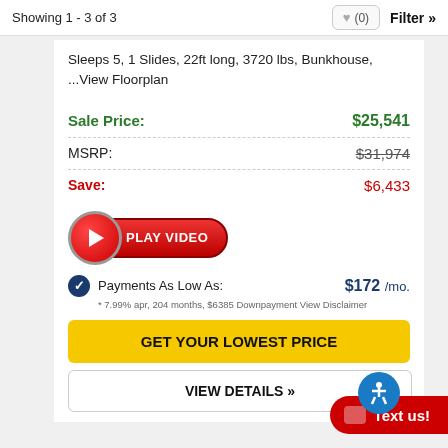Showing 1 - 3 of 3
Sleeps 5, 1 Slides, 22ft long, 3720 lbs, Bunkhouse, ...View Floorplan
Sale Price: $25,541
MSRP: $31,974
Save: $6,433
[Figure (other): Red Play Video button with circular play icon and pill-shaped red button labeled PLAY VIDEO]
Payments As Low As: $172 /mo.
* 7.99% apr, 204 months, $6385 Downpayment View Disclaimer
GET YOUR LOWEST PRICE
VIEW DETAILS »